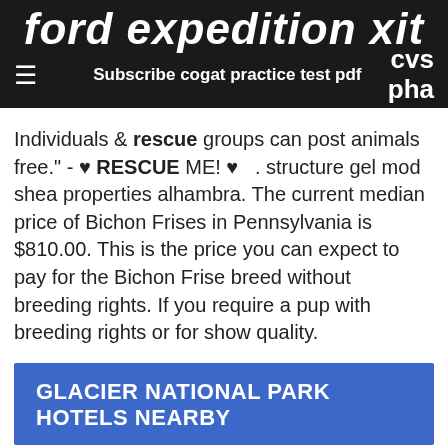ford expedition xit
Subscribe cogat practice test pdf   cvs pha
Individuals & rescue groups can post animals free." - ♥ RESCUE ME! ♥ . structure gel mod shea properties alhambra. The current median price of Bichon Frises in Pennsylvania is $810.00. This is the price you can expect to pay for the Bichon Frise breed without breeding rights. If you require a pup with breeding rights or for show quality.
GLACIER NATIONAL PARK HOTELS NEARBY
grand junction colorado
dr colombo
wireless corner scales